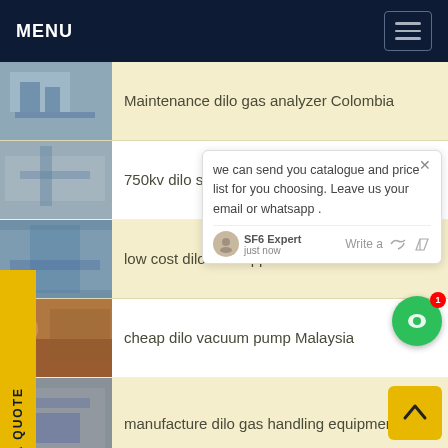MENU
Maintenance dilo gas analyzer Colombia
750kv dilo sf6 Africa
low cost dilo 2 Philippine
cheap dilo vacuum pump Malaysia
manufacture dilo gas handling equipment
develop dilo sf6 india Colombia
we can send you catalogue and price list for you choosing. Leave us your email or whatsapp .
REQUEST A QUOTE